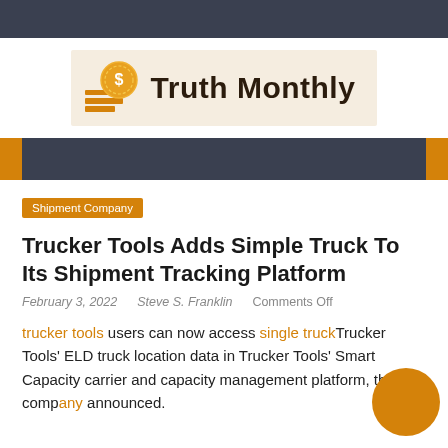[Figure (logo): Truth Monthly logo with coin icon and stacked bars graphic on cream background]
[Figure (other): Dark navy banner bar with orange accent blocks on left and right edges]
Shipment Company
Trucker Tools Adds Simple Truck To Its Shipment Tracking Platform
February 3, 2022   Steve S. Franklin   Comments Off
trucker tools users can now access single truckTrucker Tools' ELD truck location data in Trucker Tools' Smart Capacity carrier and capacity management platform, the company announced.